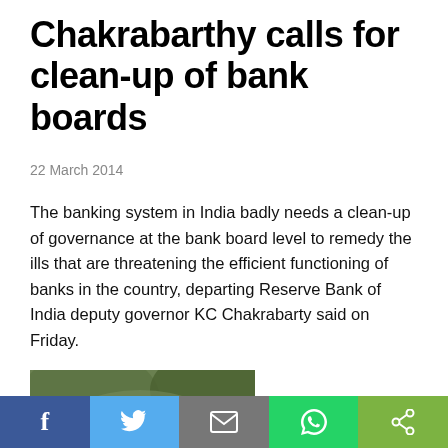Chakrabarthy calls for clean-up of bank boards
22 March 2014
The banking system in India badly needs a clean-up of governance at the bank board level to remedy the ills that are threatening the efficient functioning of banks in the country, departing Reserve Bank of India deputy governor KC Chakrabarty said on Friday.
[Figure (photo): Portrait photo of KC Chakrabarty, a middle-aged Indian man with salt-and-pepper hair, photographed outdoors against green foliage.]
Chakrabarty called for an